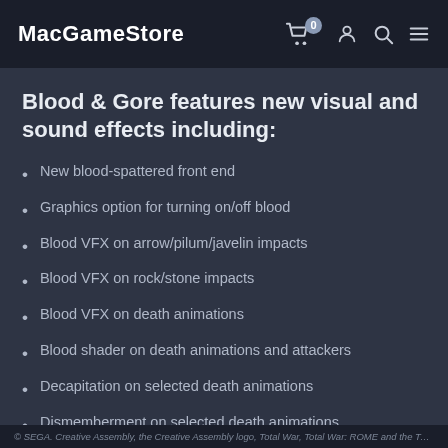MacGameStore
Blood & Gore features new visual and sound effects including:
New blood-spattered front end
Graphics option for turning on/off blood
Blood VFX on arrow/pilum/javelin impacts
Blood VFX on rock/stone impacts
Blood VFX on death animations
Blood shader on death animations and attackers
Decapitation on selected death animations
Dismemberment on selected death animations
Blood decals on terrain
Sound effects for all blood animations
© SEGA. Creative Assembly, the Creative Assembly logo, Total War, Total War: ROME and the Total